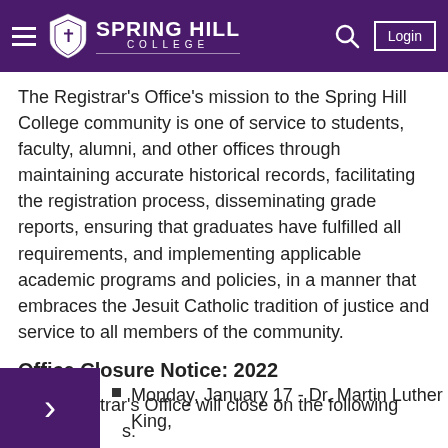Spring Hill College
The Registrar’s Office’s mission to the Spring Hill College community is one of service to students, faculty, alumni, and other offices through maintaining accurate historical records, facilitating the registration process, disseminating grade reports, ensuring that graduates have fulfilled all requirements, and implementing applicable academic programs and policies, in a manner that embraces the Jesuit Catholic tradition of justice and service to all members of the community.
Office Closure Notice: 2022
The Registrar’s Office will close on the following s:
Monday, January 17 - Dr. Martin Luther King,